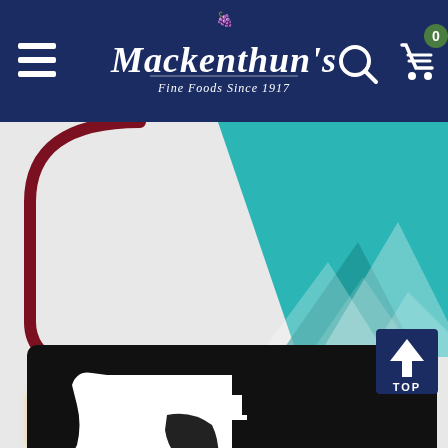[Figure (screenshot): Mackenthun's Fine Foods Since 1917 website navigation bar on dark navy blue background with hamburger menu, script logo, search icon, and shopping cart with 0 badge]
[Figure (logo): Minnesota Retail Association logo — black rectangle with white silhouette of Minnesota state outline combined with a human face profile, text reads 'Minnesota RETAIL Association' in white on black background]
[Figure (illustration): Teal/turquoise geometric triangular mountain shapes in upper right area]
[Figure (illustration): Maroon curved bracket or swoosh shape on left side]
[Figure (illustration): Blue TOP button with upward arrow in lower right corner]
[Figure (illustration): Yellow blurred element at bottom left of page]